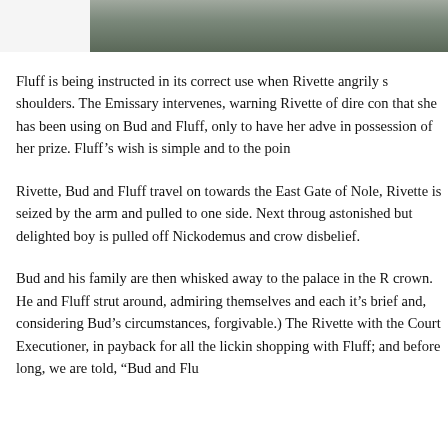[Figure (photo): A cropped photograph showing a figure, rendered in muted greenish-gray tones, cut off at the top of the page.]
Fluff is being instructed in its correct use when Rivette angrily s shoulders. The Emissary intervenes, warning Rivette of dire con that she has been using on Bud and Fluff, only to have her adve in possession of her prize. Fluff's wish is simple and to the poin
Rivette, Bud and Fluff travel on towards the East Gate of Nole, Rivette is seized by the arm and pulled to one side. Next throug astonished but delighted boy is pulled off Nickodemus and crow disbelief.
Bud and his family are then whisked away to the palace in the R crown. He and Fluff strut around, admiring themselves and each it's brief and, considering Bud's circumstances, forgivable.) The Rivette with the Court Executioner, in payback for all the lickin shopping with Fluff; and before long, we are told, "Bud and Flu